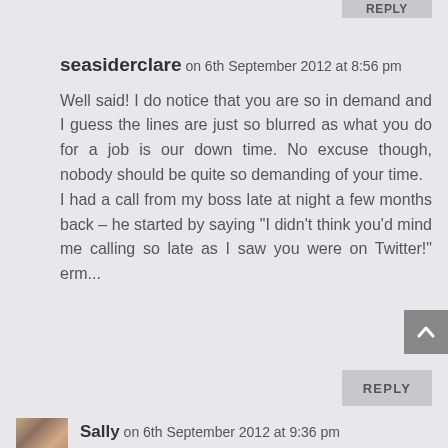REPLY (partial)
seasiderclare on 6th September 2012 at 8:56 pm
Well said! I do notice that you are so in demand and I guess the lines are just so blurred as what you do for a job is our down time. No excuse though, nobody should be quite so demanding of your time.
I had a call from my boss late at night a few months back – he started by saying "I didn't think you'd mind me calling so late as I saw you were on Twitter!" erm...
REPLY
Sally on 6th September 2012 at 9:36 pm